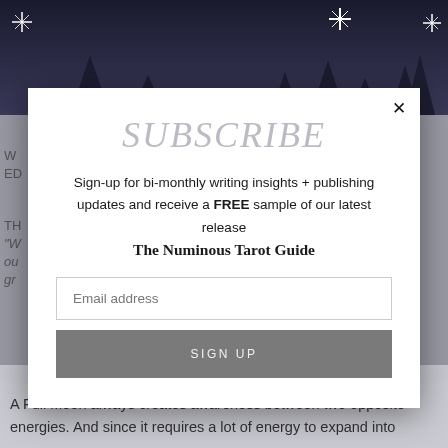[Figure (photo): Night sky background with trees silhouetted, star glints visible in upper portion]
SUBSCRIBE
Sign-up for bi-monthly writing insights + publishing updates and receive a FREE sample of our latest release
The Numinous Tarot Guide
Email address
SIGN UP
A Full Moon always creates awareness between two opposite energies. And since it requires a lot of energy to expand into